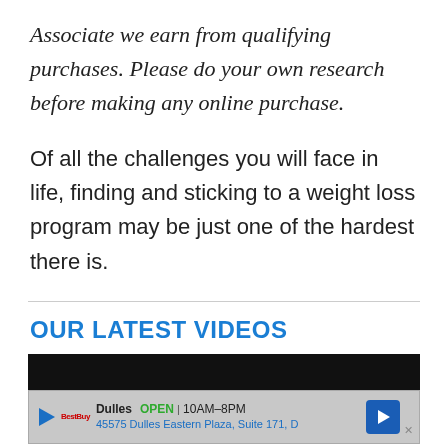Associate we earn from qualifying purchases. Please do your own research before making any online purchase.
Of all the challenges you will face in life, finding and sticking to a weight loss program may be just one of the hardest there is.
OUR LATEST VIDEOS
[Figure (other): Video player with black top bar and advertisement bar at bottom showing: Dulles OPEN 10AM-8PM, 45575 Dulles Eastern Plaza, Suite 171, D — with play button, logo, and navigation arrow icon]